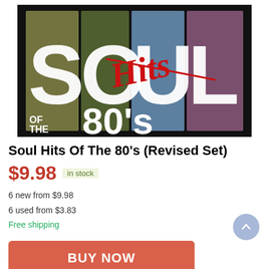[Figure (illustration): Album cover for 'Soul Hits Of The 80s' showing large stylized white letters spelling SOUL with colored vertical panels (olive, teal, slate, mauve) and the word 'Hits' in red cursive overlaid, plus '80's' and 'OF THE' text on a black background]
Soul Hits Of The 80's (Revised Set)
$9.98  in stock
6 new from $9.98
6 used from $3.83
Free shipping
BUY NOW